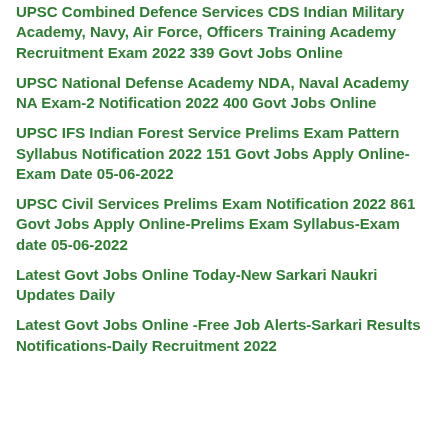UPSC Combined Defence Services CDS Indian Military Academy, Navy, Air Force, Officers Training Academy Recruitment Exam 2022 339 Govt Jobs Online
UPSC National Defense Academy NDA, Naval Academy NA Exam-2 Notification 2022 400 Govt Jobs Online
UPSC IFS Indian Forest Service Prelims Exam Pattern Syllabus Notification 2022 151 Govt Jobs Apply Online- Exam Date 05-06-2022
UPSC Civil Services Prelims Exam Notification 2022 861 Govt Jobs Apply Online-Prelims Exam Syllabus-Exam date 05-06-2022
Latest Govt Jobs Online Today-New Sarkari Naukri Updates Daily
Latest Govt Jobs Online -Free Job Alerts-Sarkari Results Notifications-Daily Recruitment 2022